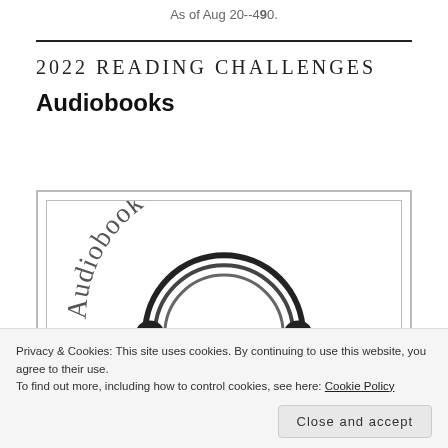As of Aug 20--490.
2022 READING CHALLENGES
Audiobooks
[Figure (illustration): Audiobook Challenge badge/logo showing text 'Audiobook Challenge' in an arc at the top, with a semicircular rainbow/headphone graphic below, bordered by a double-line rectangular frame.]
Privacy & Cookies: This site uses cookies. By continuing to use this website, you agree to their use.
To find out more, including how to control cookies, see here: Cookie Policy
Close and accept